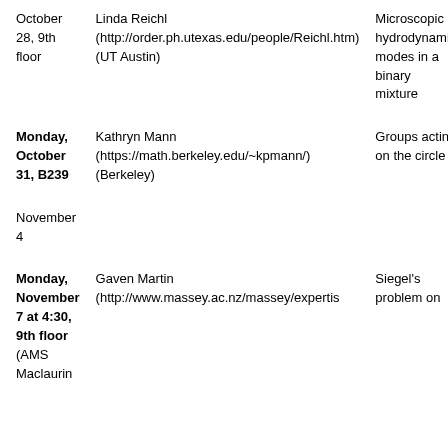| Date | Speaker | Topic | Host |
| --- | --- | --- | --- |
| October 28, 9th floor | Linda Reichl (http://order.ph.utexas.edu/people/Reichl.htm) (UT Austin) | Microscopic hydrodynamic modes in a binary mixture | Minh-Binh Tran |
| Monday, October 31, B239 | Kathryn Mann (https://math.berkeley.edu/~kpmann/) (Berkeley) | Groups acting on the circle | Smith |
| November 4 |  |  |  |
| Monday, November 7 at 4:30, 9th floor (AMS Maclaurin | Gaven Martin (http://www.massey.ac.nz/massey/expertis | Siegel's problem on |  |